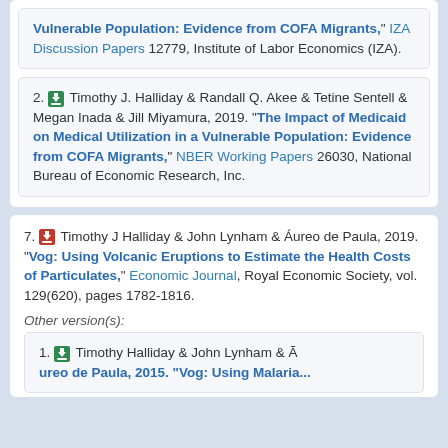Medicaid on Medical Utilization in a Vulnerable Population: Evidence from COFA Migrants," IZA Discussion Papers 12779, Institute of Labor Economics (IZA).
2. Timothy J. Halliday & Randall Q. Akee & Tetine Sentell & Megan Inada & Jill Miyamura, 2019. "The Impact of Medicaid on Medical Utilization in a Vulnerable Population: Evidence from COFA Migrants," NBER Working Papers 26030, National Bureau of Economic Research, Inc.
7. Timothy J Halliday & John Lynham & Áureo de Paula, 2019. "Vog: Using Volcanic Eruptions to Estimate the Health Costs of Particulates," Economic Journal, Royal Economic Society, vol. 129(620), pages 1782-1816.
Other version(s):
1. Timothy Halliday & John Lynham & Ã ureo de Paula, 2015. "Vog: Using Malaria...